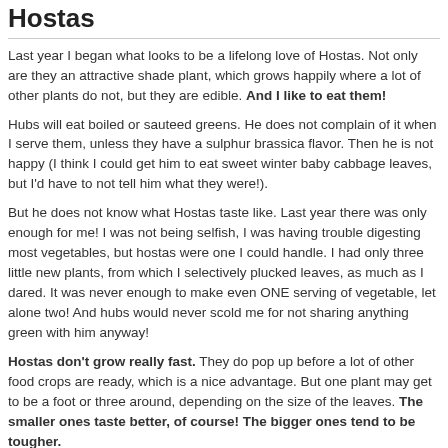Hostas
Last year I began what looks to be a lifelong love of Hostas. Not only are they an attractive shade plant, which grows happily where a lot of other plants do not, but they are edible. And I like to eat them!
Hubs will eat boiled or sauteed greens. He does not complain of it when I serve them, unless they have a sulphur brassica flavor. Then he is not happy (I think I could get him to eat sweet winter baby cabbage leaves, but I'd have to not tell him what they were!).
But he does not know what Hostas taste like. Last year there was only enough for me! I was not being selfish, I was having trouble digesting most vegetables, but hostas were one I could handle. I had only three little new plants, from which I selectively plucked leaves, as much as I dared. It was never enough to make even ONE serving of vegetable, let alone two! And hubs would never scold me for not sharing anything green with him anyway!
Hostas don't grow really fast. They do pop up before a lot of other food crops are ready, which is a nice advantage. But one plant may get to be a foot or three around, depending on the size of the leaves. The smaller ones taste better, of course! The bigger ones tend to be tougher.